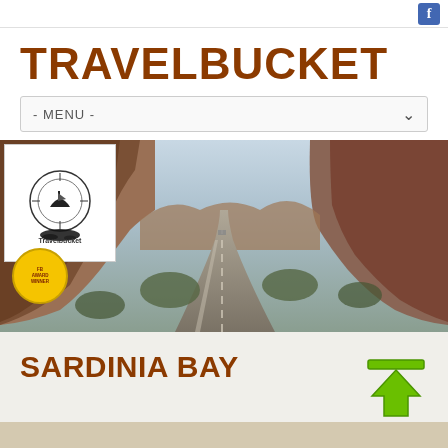[Figure (logo): Facebook icon button top right]
TRAVELBUCKET
- MENU -
[Figure (photo): Hero photo of a canyon road with rocky cliffs and mountains, overlaid with Travelbucket logo and a yellow award badge]
SARDINIA BAY
[Figure (other): Green upload/scroll-to-top arrow button]